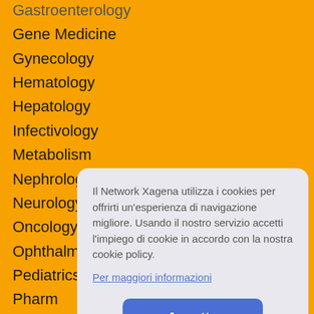Gastroenterology
Gene Medicine
Gynecology
Hematology
Hepatology
Infectivology
Metabolism
Nephrology
Neurology
Oncology
Ophthalmology
Pediatrics
Pharmacology
Psychiatry
Pulmonology
Rheumatology
Stem Cell
Urology
Vaccines
Virology
XAGENA
Allergologia
Cardiologia
Il Network Xagena utilizza i cookies per offrirti un'esperienza di navigazione migliore. Usando il nostro servizio accetti l'impiego di cookie in accordo con la nostra cookie policy.
Per maggiori informazioni
Accetto